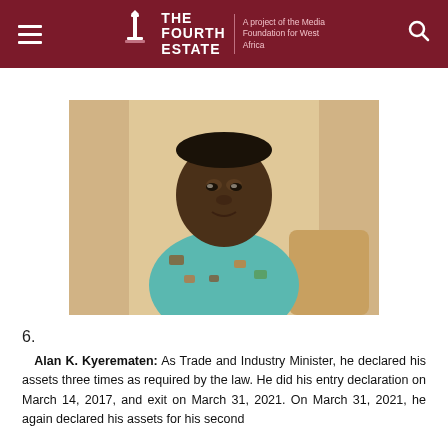The Fourth Estate — A project of the Media Foundation for West Africa
[Figure (photo): Portrait photo of Alan K. Kyerematen, a middle-aged man wearing a teal and brown African print shirt, seated indoors with curtains in the background.]
6. Alan K. Kyerematen: As Trade and Industry Minister, he declared his assets three times as required by the law. He did his entry declaration on March 14, 2017, and exit on March 31, 2021. On March 31, 2021, he again declared his assets for his second